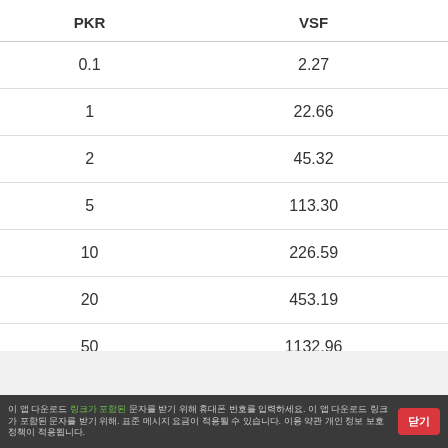| PKR | VSF |
| --- | --- |
| 0.1 | 2.27 |
| 1 | 22.66 |
| 2 | 45.32 |
| 5 | 113.30 |
| 10 | 226.59 |
| 20 | 453.19 |
| 50 | 1132.96 |
| 100 | 2265.93 |
이 앱 다운로드 링크가 포함된 문자를 받기 위해 휴대폰 번호를 입력하세요. 표준 메시지 요금이 적용될 수 있습니다. 이용 약관 개인 정보 보호 정책이 적용됩니다.